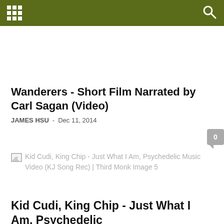Navigation bar with grid menu icon and search icon
Wanderers - Short Film Narrated by Carl Sagan (Video)
JAMES HSU  -  Dec 11, 2014
[Figure (other): Broken image placeholder for Kid Cudi, King Chip - Just What I Am, Psychedelic Music Video (KJ Song Rec) | Third Monk Image 5]
Kid Cudi, King Chip - Just What I Am, Psychedelic